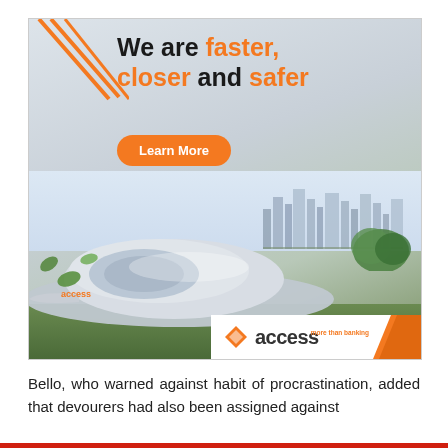[Figure (illustration): Access Bank advertisement banner showing a futuristic high-speed train/vehicle on grass with a city skyline in background. Orange diagonal lines in top-left corner. Text reads 'We are faster, closer and safer' with an orange 'Learn More' button. Access Bank logo at bottom right.]
Bello, who warned against habit of procrastination, added that devourers had also been assigned against